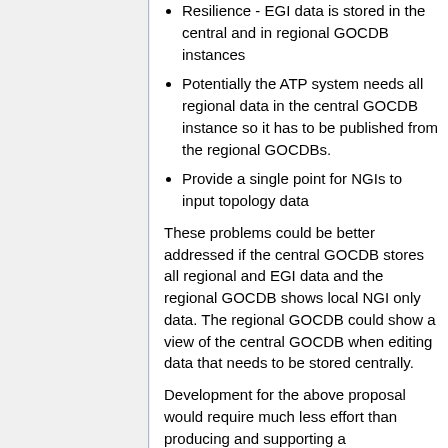Resilience - EGI data is stored in the central and in regional GOCDB instances
Potentially the ATP system needs all regional data in the central GOCDB instance so it has to be published from the regional GOCDBs.
Provide a single point for NGIs to input topology data
These problems could be better addressed if the central GOCDB stores all regional and EGI data and the regional GOCDB shows local NGI only data. The regional GOCDB could show a view of the central GOCDB when editing data that needs to be stored centrally.
Development for the above proposal would require much less effort than producing and supporting a synchronized system. Some of this extra